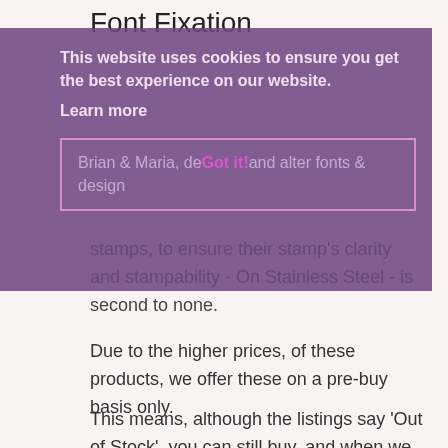Font Fixation
This website uses cookies to ensure you get the best experience on our website.
Learn more
Brian & Maria, design and alter fonts & design stamps, to ensure their stamp's clarity and stampability - On Stainless Steel - is second to none.
Due to the higher prices, of these products, we offer these on a pre-buy basis only.
This means, although the listings say 'Out of Stock', you can still buy, and when we put our order through, yours will go through also.